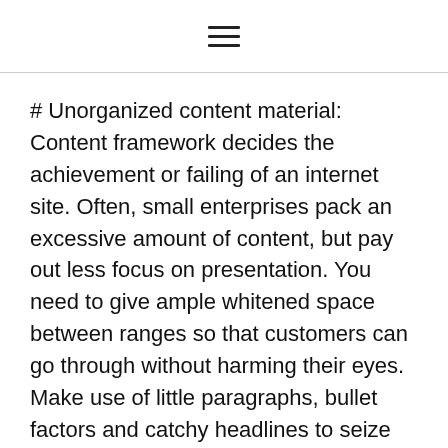[hamburger menu icon]
# Unorganized content material: Content framework decides the achievement or failing of an internet site. Often, small enterprises pack an excessive amount of content, but pay out less focus on presentation. You need to give ample whitened space between ranges so that customers can go through without harming their eyes. Make use of little paragraphs, bullet factors and catchy headlines to seize customers attention.
Nobody gets the time to read through everything you might have written on the net pages. They would like to read the most significant information which too, as quickly as possible. By way of example, if you're